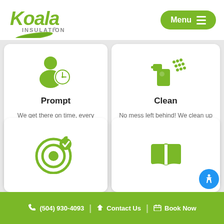[Figure (logo): Koala Insulation logo with green koala text and leaf]
Menu
[Figure (illustration): Green icon of a person with a clock - representing prompt service]
Prompt
We get there on time, every time.
[Figure (illustration): Green icon of a spray bottle - representing clean service]
Clean
No mess left behind! We clean up after ourselves.
[Figure (illustration): Green target/goal icon with checkmark]
[Figure (illustration): Green open book icon]
(504) 930-4093 | Contact Us | Book Now